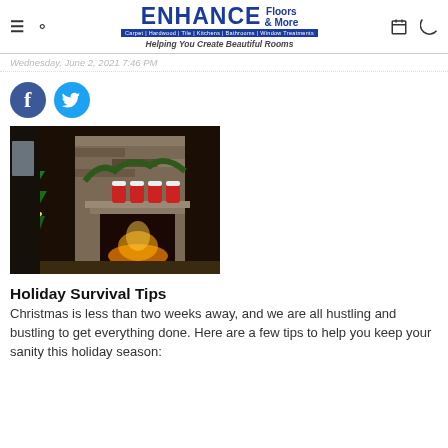ENHANCE Floors & More | Carpet | Hardwood | Tile | Kitchens | Bathrooms | Window Treatments | Helping You Create Beautiful Rooms
Wednesday, June 2, 2021 7:46 PM
[Figure (illustration): Facebook and Twitter social media icon circles]
[Figure (photo): Holiday living room scene with Christmas tree and lit fireplace, stockings hung on stone mantel, garland decorations]
Holiday Survival Tips
Christmas is less than two weeks away, and we are all hustling and bustling to get everything done.  Here are a few tips to help you keep your sanity this holiday season: